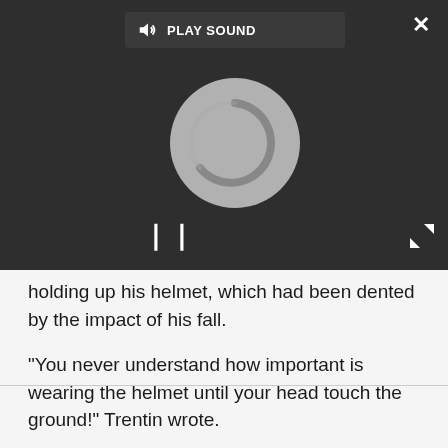[Figure (screenshot): Video player overlay showing a loading/spinning animation with a pause button. A 'PLAY SOUND' button with speaker icon is shown at the top. A close (X) button is in the top right. An expand button is in the bottom right.]
holding up his helmet, which had been dented by the impact of his fall.
"You never understand how important is wearing the helmet until your head touch the ground!" Trentin wrote.
It has been a tough race for UAE Team Emirates so far. Joao Almeida and Brandon McNulty remain in the race for the upcoming hilly stages but both are already out of general classification contention.